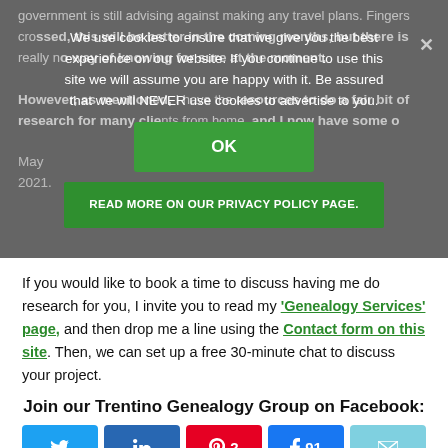government is still advising against making any travel plans. Fingers crossed, this will be better in the coming months, but there is really no way of knowing for sure at the moment.
We use cookies to ensure that we give you the best experience on our website. If you continue to use this site we will assume you are happy with it. Be assured that we will NEVER use cookies to advertise to you.
OK
READ MORE ON OUR PRIVACY POLICY PAGE.
However, as mentioned, I have the resources to do a fair bit of research for many clients from home, and I now have some of ... May 2021.
If you would like to book a time to discuss having me do research for you, I invite you to read my ‘Genealogy Services’ page, and then drop me a line using the Contact form on this site. Then, we can set up a free 30-minute chat to discuss your project.
Join our Trentino Genealogy Group on Facebook:
[Figure (infographic): Social share buttons: Twitter (bird icon), LinkedIn (in icon), Pinterest (P icon, count: 2), Facebook (f icon, count: 91), Email (envelope icon)]